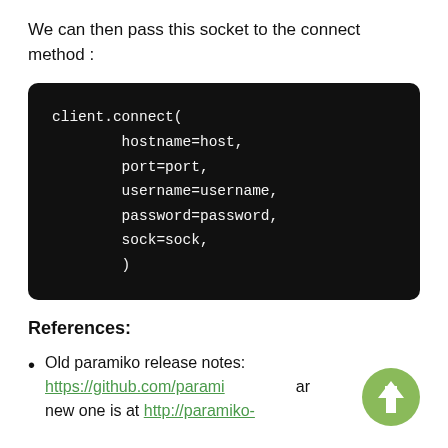We can then pass this socket to the connect method :
client.connect(
        hostname=host,
        port=port,
        username=username,
        password=password,
        sock=sock,
        )
References:
Old paramiko release notes: https://github.com/parami... new one is at http://paramiko-